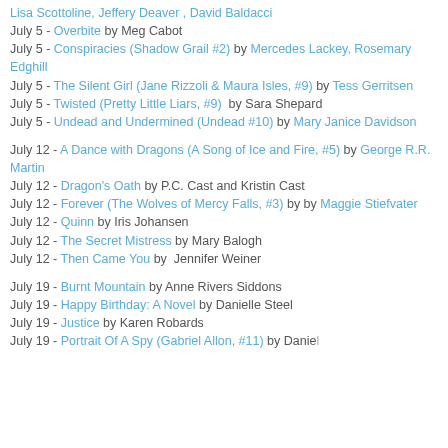Lisa Scottoline, Jeffery Deaver, David Baldacci
July 5 - Overbite by Meg Cabot
July 5 - Conspiracies (Shadow Grail #2) by Mercedes Lackey, Rosemary Edghill
July 5 - The Silent Girl (Jane Rizzoli & Maura Isles, #9) by Tess Gerritsen
July 5 - Twisted (Pretty Little Liars, #9) by Sara Shepard
July 5 - Undead and Undermined (Undead #10) by Mary Janice Davidson
July 12 - A Dance with Dragons (A Song of Ice and Fire, #5) by George R.R. Martin
July 12 - Dragon's Oath by P.C. Cast and Kristin Cast
July 12 - Forever (The Wolves of Mercy Falls, #3) by by Maggie Stiefvater
July 12 - Quinn by Iris Johansen
July 12 - The Secret Mistress by Mary Balogh
July 12 - Then Came You by Jennifer Weiner
July 19 - Burnt Mountain by Anne Rivers Siddons
July 19 - Happy Birthday: A Novel by Danielle Steel
July 19 - Justice by Karen Robards
July 19 - Portrait Of A Spy (Gabriel Allon, #11) by Daniel...